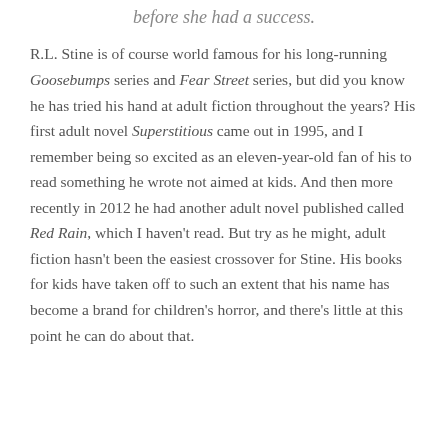before she had a success.
R.L. Stine is of course world famous for his long-running Goosebumps series and Fear Street series, but did you know he has tried his hand at adult fiction throughout the years? His first adult novel Superstitious came out in 1995, and I remember being so excited as an eleven-year-old fan of his to read something he wrote not aimed at kids. And then more recently in 2012 he had another adult novel published called Red Rain, which I haven't read. But try as he might, adult fiction hasn't been the easiest crossover for Stine. His books for kids have taken off to such an extent that his name has become a brand for children's horror, and there's little at this point he can do about that.